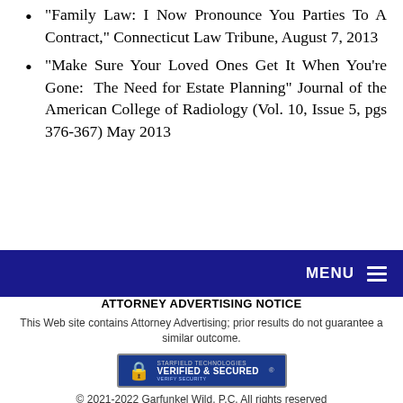"Family Law: I Now Pronounce You Parties To A Contract," Connecticut Law Tribune, August 7, 2013
"Make Sure Your Loved Ones Get It When You're Gone: The Need for Estate Planning" Journal of the American College of Radiology (Vol. 10, Issue 5, pgs 376-367) May 2013
[Figure (other): Dark blue navigation bar with MENU label and hamburger icon on the right]
ATTORNEY ADVERTISING NOTICE
This Web site contains Attorney Advertising; prior results do not guarantee a similar outcome.
[Figure (logo): Starfield Technologies Verified & Secured badge with lock icon and registered trademark symbol]
© 2021-2022 Garfunkel Wild, P.C. All rights reserved